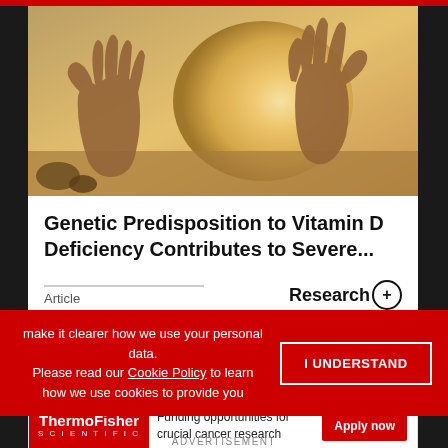[Figure (photo): Photograph of two hands raised with palms open against a bright sunlit beach/ocean background, warm golden tones]
Genetic Predisposition to Vitamin D Deficiency Contributes to Severe...
Article
Research+
make it clearer how we use your personal data.
Please read our Cookie Policy to learn how we use cookies to provide you
I UNDERSTAND
[Figure (logo): ThermoFisher Scientific logo in white on red background]
Funding opportunities for crucial cancer research
Apply now
ADVERTISEMENT